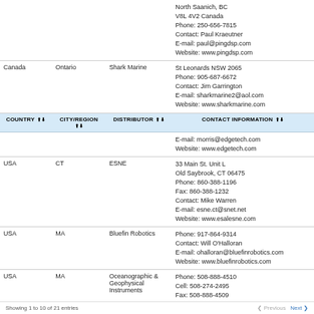| COUNTRY | CITY/REGION | DISTRIBUTOR | CONTACT INFORMATION |
| --- | --- | --- | --- |
|  |  |  | North Saanich, BC
V8L 4V2 Canada
Phone: 250-656-7815
Contact: Paul Kraeutner
E-mail: paul@pingdsp.com
Website: www.pingdsp.com |
| Canada | Ontario | Shark Marine | St Leonards NSW 2065
Phone: 905-687-6672
Contact: Jim Garrington
E-mail: sharkmarine2@aol.com
Website: www.sharkmarine.com |
|  |  |  | E-mail: morris@edgetech.com
Website: www.edgetech.com |
| USA | CT | ESNE | 33 Main St. Unit L
Old Saybrook, CT 06475
Phone: 860-388-1196
Fax: 860-388-1232
Contact: Mike Warren
E-mail: esne.ct@snet.net
Website: www.esalesne.com |
| USA | MA | Bluefin Robotics | Phone: 917-864-9314
Contact: Will O'Halloran
E-mail: ohalloran@bluefinrobotics.com
Website: www.bluefinrobotics.com |
| USA | MA | Oceanographic &
Geophysical
Instruments | Phone: 508-888-4510
Cell: 508-274-2495
Fax: 508-888-4509
Contact: Paul Igo
E-mail: piga57@aol.com
Website: www.oginstruments.com |
Showing 1 to 10 of 21 entries    Previous  Next